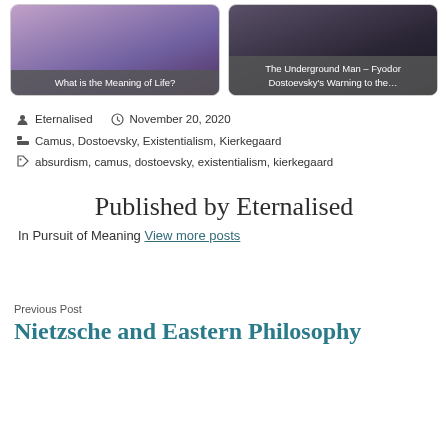[Figure (illustration): Two article preview cards side by side. Left card shows purple-toned image with overlay text 'What is the Meaning of Life?'. Right card shows dark image with overlay text 'The Underground Man – Fyodor Dostoevsky's Warning to the...']
Eternalised   November 20, 2020
Camus, Dostoevsky, Existentialism, Kierkegaard
absurdism, camus, dostoevsky, existentialism, kierkegaard
Published by Eternalised
In Pursuit of Meaning View more posts
Previous Post
Nietzsche and Eastern Philosophy